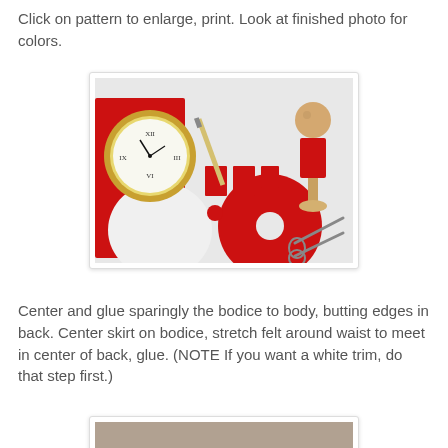Click on pattern to enlarge, print. Look at finished photo for colors.
[Figure (photo): Craft supplies laid out on a white surface: a gold round clock, several cut red felt pieces including rectangles and a large circle with a hole, a white oval/circle felt piece, a pencil/brush, scissors, and a wooden doll/peg person figure with a red rectangular body piece, all arranged as craft project components.]
Center and glue sparingly the bodice to body, butting edges in back. Center skirt on bodice, stretch felt around waist to meet in center of back, glue. (NOTE If you want a white trim, do that step first.)
[Figure (photo): Partial photo visible at bottom of page showing craft project in progress.]